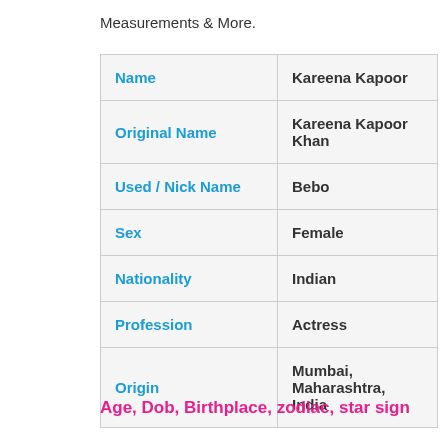Measurements & More.
|  |  |
| --- | --- |
| Name | Kareena Kapoor |
| Original Name | Kareena Kapoor Khan |
| Used / Nick Name | Bebo |
| Sex | Female |
| Nationality | Indian |
| Profession | Actress |
| Origin | Mumbai, Maharashtra, India |
Age, Dob, Birthplace, zodiac, star sign